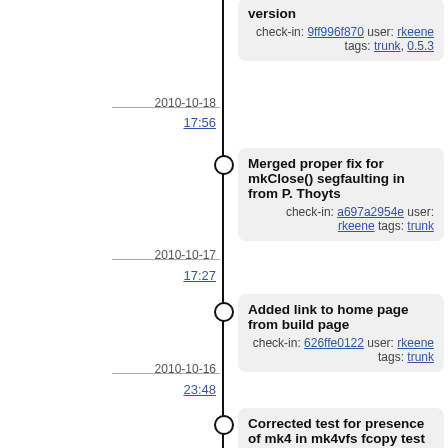version
check-in: 9ff996f870 user: rkeene tags: trunk, 0.5.3
2010-10-18
17:56
Merged proper fix for mkClose() segfaulting in from P. Thoyts
check-in: a697a2954e user: rkeene tags: trunk
2010-10-17
17:27
Added link to home page from build page
check-in: 626ffe0122 user: rkeene tags: trunk
2010-10-16
23:48
Corrected test for presence of mk4 in mk4vfs fcopy test
check-in: 8e7cd7106a user: rkeene tags: trunk
21:28
Added patch from P. Thoyts fixing async channel copies in mk4vfs. This closes bug [0990f53b1a].
check-in: ae7d9fc61b user: rkeene tags: trunk
2010-10-14
07:41
Added patch for Tcl 8.4.19 to support compiling on Unix...